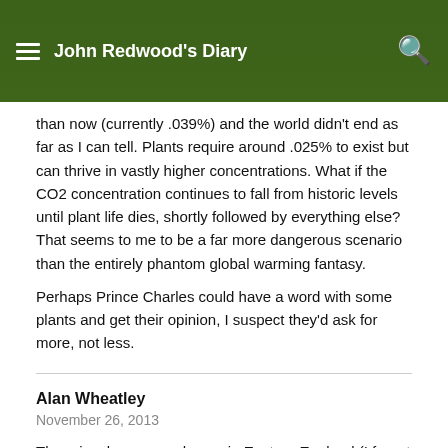John Redwood's Diary
than now (currently .039%) and the world didn't end as far as I can tell. Plants require around .025% to exist but can thrive in vastly higher concentrations. What if the CO2 concentration continues to fall from historic levels until plant life dies, shortly followed by everything else? That seems to me to be a far more dangerous scenario than the entirely phantom global warming fantasy.
Perhaps Prince Charles could have a word with some plants and get their opinion, I suspect they'd ask for more, not less.
Alan Wheatley
November 26, 2013
There is a large greenhouse in Eastern England (I forget